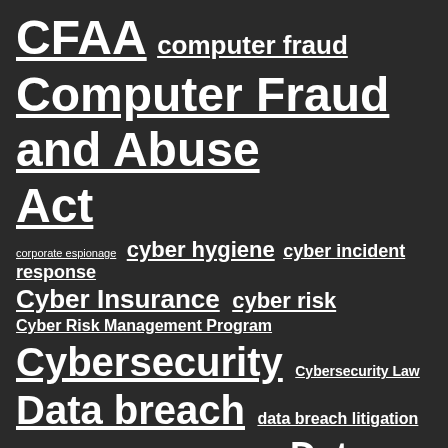CFAA  computer fraud
Computer Fraud and Abuse Act
corporate espionage  cyber hygiene  cyber incident response
Cyber Insurance  cyber risk
Cyber Risk Management Program
Cybersecurity  Cybersecurity Law
Data breach  data breach litigation
Data Breach Response  Data Privacy
data security  Digital Business Risk
Digital Information Law  hacking  HIPAA